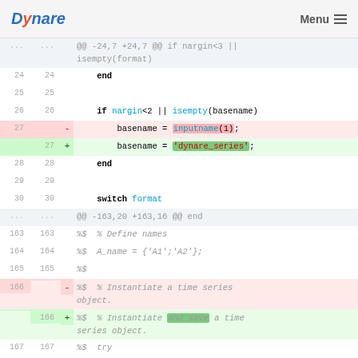Dynare   Menu
[Figure (screenshot): Code diff view showing changes to a Dynare MATLAB file. Lines 24-30 and 163-168 are shown. Line 27 is changed from 'basename = inputname(1);' to 'basename = dynare_series;'. Line 166 comment changed from '% Instantiate a time series object.' to '% Instantiate and save a time series object.']